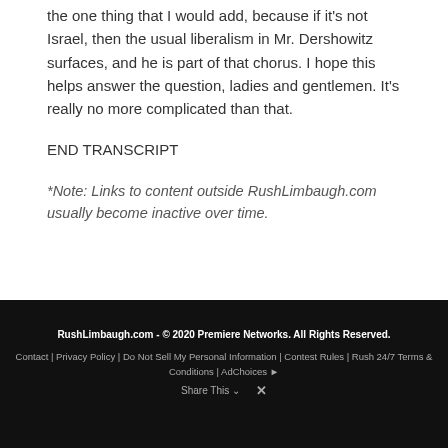the one thing that I would add, because if it's not Israel, then the usual liberalism in Mr. Dershowitz surfaces, and he is part of that chorus. I hope this helps answer the question, ladies and gentlemen. It's really no more complicated than that.
END TRANSCRIPT
*Note: Links to content outside RushLimbaugh.com usually become inactive over time.
RushLimbaugh.com - © 2020 Premiere Networks. All Rights Reserved. Contact | Privacy Policy | Do Not Sell My Personal Information | Contest Rules | Rush 24/7 Terms & Conditions | AdChoices | Share This